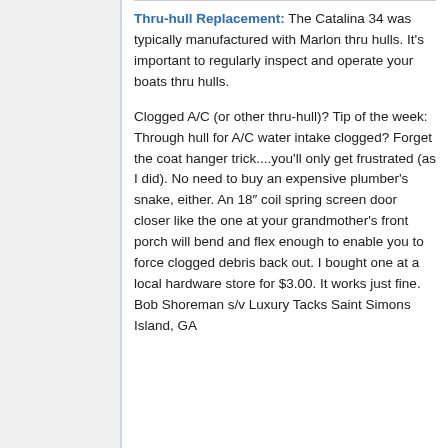Thru-hull Replacement: The Catalina 34 was typically manufactured with Marlon thru hulls. It's important to regularly inspect and operate your boats thru hulls.
Clogged A/C (or other thru-hull)? Tip of the week: Through hull for A/C water intake clogged? Forget the coat hanger trick....you'll only get frustrated (as I did). No need to buy an expensive plumber's snake, either. An 18" coil spring screen door closer like the one at your grandmother's front porch will bend and flex enough to enable you to force clogged debris back out. I bought one at a local hardware store for $3.00. It works just fine. Bob Shoreman s/v Luxury Tacks Saint Simons Island, GA